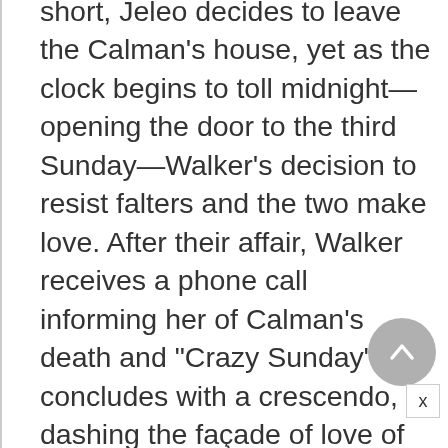short, Jeleo decides to leave the Calman's house, yet as the clock begins to toll midnight—opening the door to the third Sunday—Walker's decision to resist falters and the two make love. After their affair, Walker receives a phone call informing her of Calman's death and "Crazy Sunday" concludes with a crescendo, dashing the façade of love of the Calman's marriage against the steps of their staged, publicly exposed, and completely inadequate private lives.